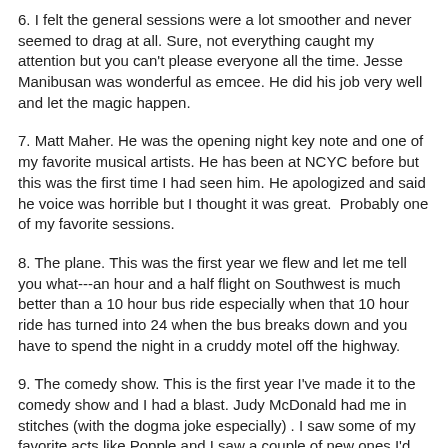6.  I felt the general sessions were a lot smoother and never seemed to drag at all.  Sure, not everything caught my attention but you can't please everyone all the time.  Jesse Manibusan was wonderful as emcee.  He did his job very well and let the magic happen.
7. Matt Maher.   He was the opening night key note and one of my favorite musical artists.  He has been at NCYC before but this was the first time I had seen him. He apologized and said he voice was horrible but I thought it was great.  Probably one of my favorite sessions.
8.  The plane.  This was the first year we flew and let me tell you what---an hour and a half flight on Southwest is much better than a 10 hour bus ride especially when that 10 hour ride has turned into 24 when the bus breaks down and you have to spend the night in a cruddy motel off the highway.
9. The comedy show.  This is the first year I've made it to the comedy show and I had a blast.  Judy McDonald had me in stitches (with the dogma joke especially) .  I saw some of my favorite acts like Popple and I saw a couple of new ones I'd